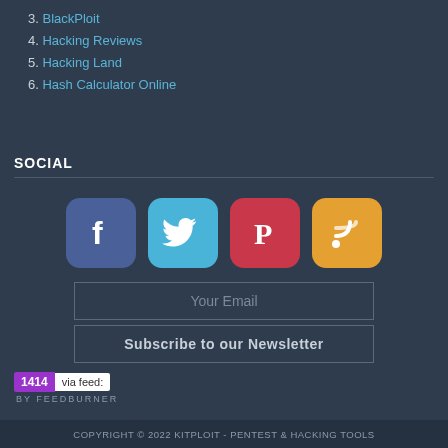3. BlackPloit
4. Hacking Reviews
5. Hacking Land
6. Hash Calculator Online
SOCIAL
[Figure (infographic): Four social media icons: Facebook (blue), Twitter (light blue), Pinterest (red), RSS (orange)]
Your Email
Subscribe to our Newsletter
[Figure (infographic): FeedBurner badge showing 1414 via feed: BY FEEDBURNER]
COPYRIGHT © 2022 KITPLOIT - PENTEST & HACKING TOOLS